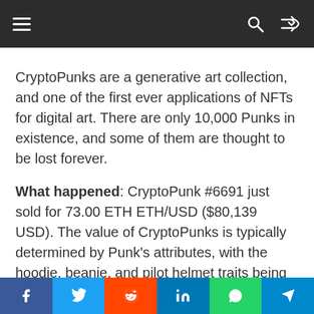Navigation bar with menu, search, and shuffle icons
CryptoPunks are a generative art collection, and one of the first ever applications of NFTs for digital art. There are only 10,000 Punks in existence, and some of them are thought to be lost forever.
What happened: CryptoPunk #6691 just sold for 73.00 ETH ETH/USD ($80,139 USD). The value of CryptoPunks is typically determined by Punk's attributes, with the hoodie, beanie, and pilot helmet traits being the most coveted. Other species of Punks (Zombies, Apes and Aliens) are
Social share bar: Facebook, Twitter, Reddit, LinkedIn, WhatsApp, Telegram